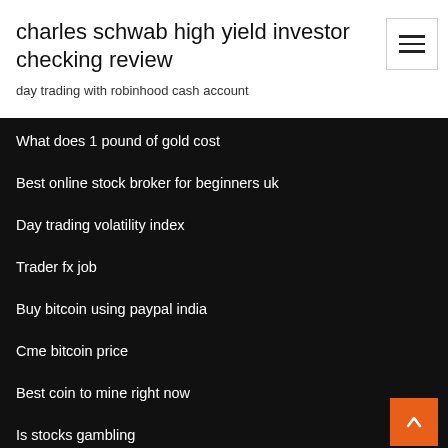charles schwab high yield investor checking review
day trading with robinhood cash account
What does 1 pound of gold cost
Best online stock broker for beginners uk
Day trading volatility index
Trader fx job
Buy bitcoin using paypal india
Cme bitcoin price
Best coin to mine right now
Is stocks gambling